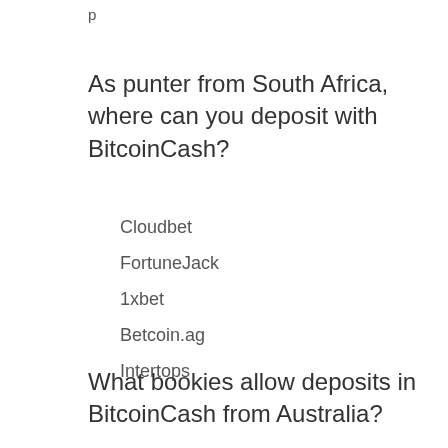p
As punter from South Africa, where can you deposit with BitcoinCash?
Cloudbet
FortuneJack
1xbet
Betcoin.ag
Intertops
What bookies allow deposits in BitcoinCash from Australia?